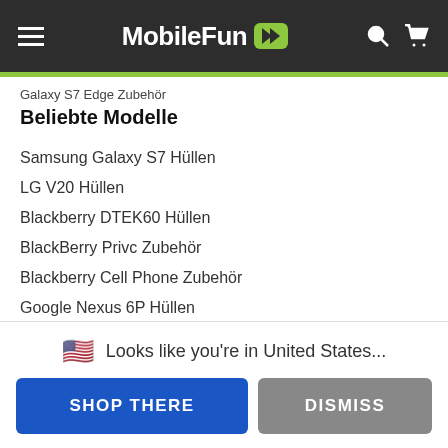MobileFun
Galaxy S7 Edge Zubehör
Beliebte Modelle
Samsung Galaxy S7 Hüllen
LG V20 Hüllen
Blackberry DTEK60 Hüllen
BlackBerry Privc Zubehör
Blackberry Cell Phone Zubehör
Google Nexus 6P Hüllen
Motorola Moto X Play Hüllen
Samsung GALAXY Note 5 Hüllen
Neue Beliebte Modelle
Nothing Phone 1 Taschen
Looks like you're in United States...
SHOP THERE
DISMISS